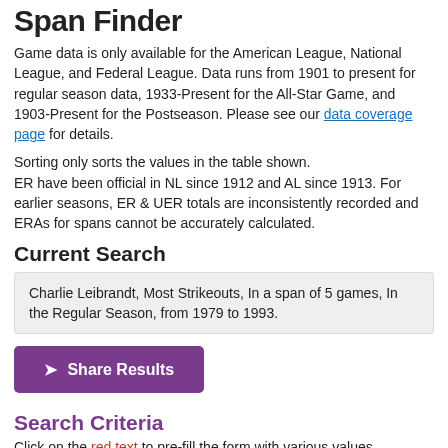Span Finder
Game data is only available for the American League, National League, and Federal League. Data runs from 1901 to present for regular season data, 1933-Present for the All-Star Game, and 1903-Present for the Postseason. Please see our data coverage page for details.
Sorting only sorts the values in the table shown.
ER have been official in NL since 1912 and AL since 1913. For earlier seasons, ER & UER totals are inconsistently recorded and ERAs for spans cannot be accurately calculated.
Current Search
Charlie Leibrandt, Most Strikeouts, In a span of 5 games, In the Regular Season, from 1979 to 1993.
➤ Share Results
Search Criteria
Click on the red text to pre-fill the form with various values
Sort By
Sorting options are only available for subscribers. Sign up now for